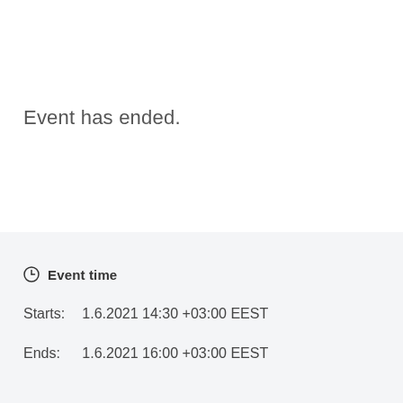Event has ended.
Event time
Starts:   1.6.2021 14:30 +03:00 EEST
Ends:   1.6.2021 16:00 +03:00 EEST